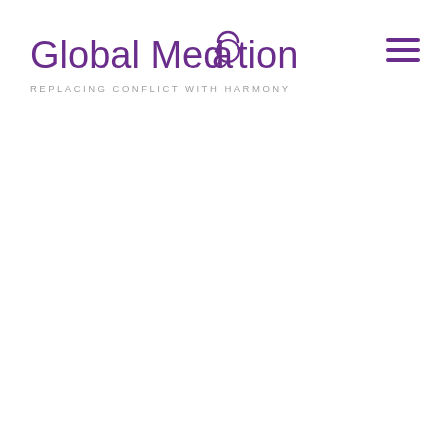[Figure (logo): Global Medration logo with purple text and circular arc over the letter 'a' in Medration, with tagline REPLACING CONFLICT WITH HARMONY below]
[Figure (other): Hamburger menu icon with three purple horizontal lines, top right corner]